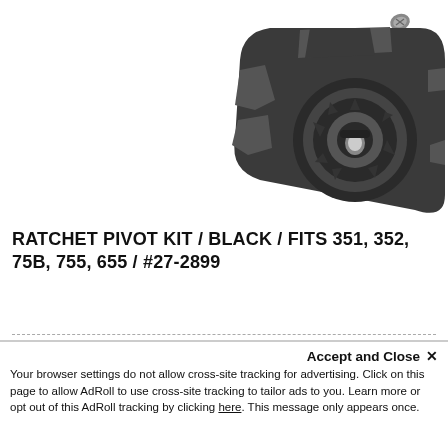[Figure (photo): Product photo of a black ratchet pivot kit component (dark plastic ratchet mechanism with circular center and mounting slots) with a small screw visible in upper right corner, on white background]
RATCHET PIVOT KIT / BLACK / FITS 351, 352, 75B, 755, 655 / #27-2899
FITS HELMET/S: 351, 352, 75B, 755, 655 INCLUDES: RATCHET PIVOT KIT & Screws
WARNING: Cancer and reproductive...
Accept and Close ✕
Your browser settings do not allow cross-site tracking for advertising. Click on this page to allow AdRoll to use cross-site tracking to tailor ads to you. Learn more or opt out of this AdRoll tracking by clicking here. This message only appears once.